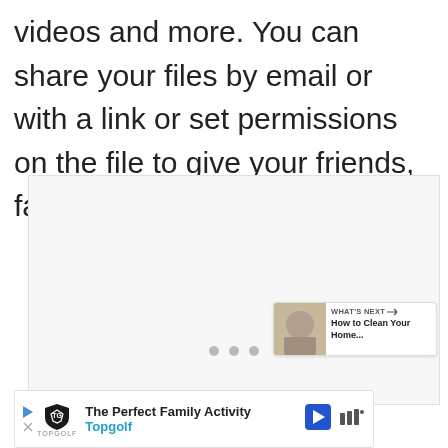videos and more. You can share your files by email or with a link or set permissions on the file to give your friends, family, or coworkers access.
[Figure (screenshot): A screenshot/media player area with navigation dots at the bottom, a teal heart/favorite button, a white share button, and a 'What's Next' card showing 'How to Clean Your Home...' with a thumbnail image.]
[Figure (screenshot): Advertisement banner for Topgolf: 'The Perfect Family Activity' with Topgolf logo, play button, and navigation arrow icon.]